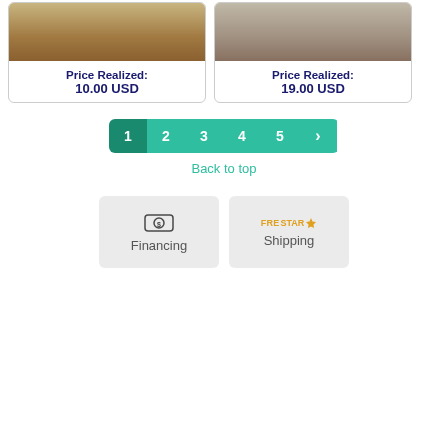[Figure (photo): Photo of furniture on wood floor]
Price Realized:
10.00 USD
[Figure (photo): Photo of a hand holding a decorative medallion or plate]
Price Realized:
19.00 USD
[Figure (infographic): Pagination bar with pages 1, 2, 3, 4, 5 and a next arrow, page 1 is active/darker]
Back to top
[Figure (infographic): Financing button with dollar icon]
[Figure (logo): FreStar Shipping logo button]